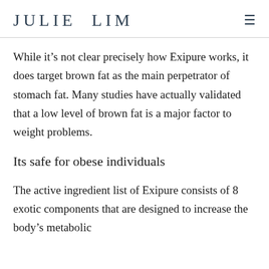JULIE LIM
While it’s not clear precisely how Exipure works, it does target brown fat as the main perpetrator of stomach fat. Many studies have actually validated that a low level of brown fat is a major factor to weight problems.
Its safe for obese individuals
The active ingredient list of Exipure consists of 8 exotic components that are designed to increase the body’s metabolic